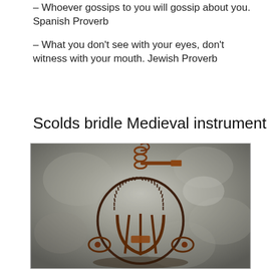– Whoever gossips to you will gossip about you. Spanish Proverb
– What you don't see with your eyes, don't witness with your mouth. Jewish Proverb
Scolds bridle Medieval instrument
[Figure (photo): A medieval scold's bridle instrument — a rusty iron cage/mask with geared rings and chains, photographed against a rough stone wall background.]